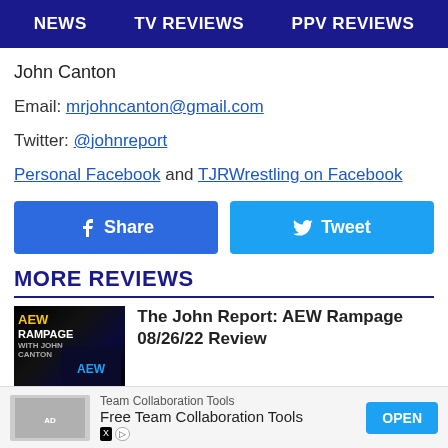NEWS   TV REVIEWS   PPV REVIEWS
John Canton
Email: mrjohncanton@gmail.com
Twitter: @johnreport
Personal Facebook and TJRWrestling on Facebook
[Figure (other): Facebook Share button and Twitter Tweet button]
MORE REVIEWS
[Figure (photo): AEW Rampage thumbnail image]
The John Report: AEW Rampage 08/26/22 Review
[Figure (other): Advertisement banner: Team Collaboration Tools - Free Team Collaboration Tools - OPEN button]